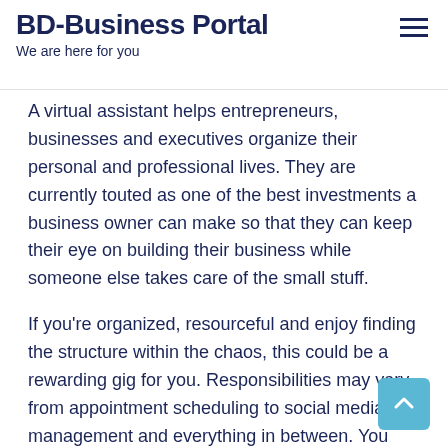BD-Business Portal
We are here for you
A virtual assistant helps entrepreneurs, businesses and executives organize their personal and professional lives. They are currently touted as one of the best investments a business owner can make so that they can keep their eye on building their business while someone else takes care of the small stuff.
If you're organized, resourceful and enjoy finding the structure within the chaos, this could be a rewarding gig for you. Responsibilities may vary from appointment scheduling to social media management and everything in between. You can even start a service with multiple assistants, each